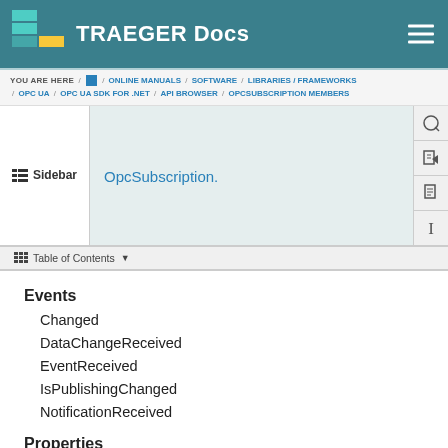TRAEGER Docs
YOU ARE HERE / HOME / ONLINE MANUALS / SOFTWARE / LIBRARIES / FRAMEWORKS / OPC UA / OPC UA SDK FOR .NET / API BROWSER / OPCSUBSCRIPTION MEMBERS
OpcSubscription.
Sidebar
Table of Contents
Events
Changed
DataChangeReceived
EventReceived
IsPublishingChanged
NotificationReceived
Properties
Client
CurrentKeepAliveCount